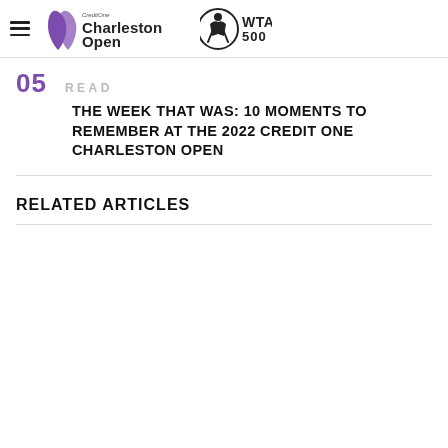Credit One Charleston Open | WTA 500
05 READ
THE WEEK THAT WAS: 10 MOMENTS TO REMEMBER AT THE 2022 CREDIT ONE CHARLESTON OPEN
RELATED ARTICLES